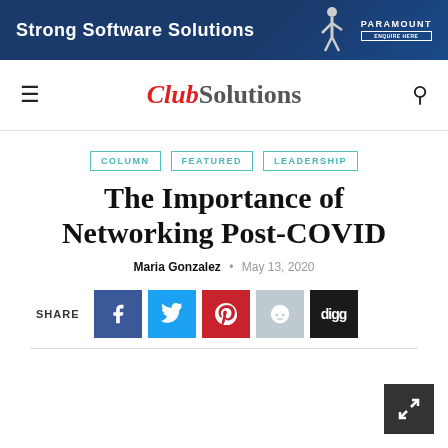[Figure (illustration): Banner advertisement for Paramount: 'Strong Software Solutions' on dark blue background with figure of person and Paramount logo]
Club Solutions
COLUMN   FEATURED   LEADERSHIP
The Importance of Networking Post-COVID
Maria Gonzalez • May 13, 2020
SHARE [Facebook] [Twitter] [Pinterest] [Reddit] [Digg]